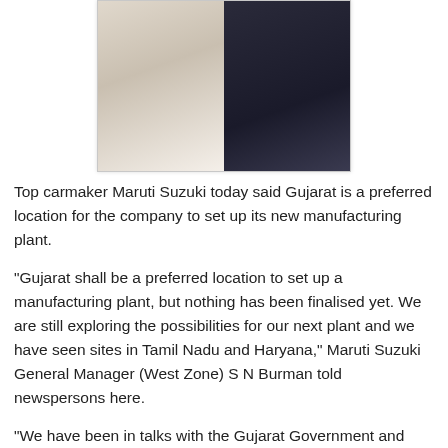[Figure (photo): Two men photographed together — one in white traditional Indian attire on the left, one in a dark business suit on the right, with an orange/yellow background visible between them.]
Top carmaker Maruti Suzuki today said Gujarat is a preferred location for the company to set up its new manufacturing plant.
"Gujarat shall be a preferred location to set up a manufacturing plant, but nothing has been finalised yet. We are still exploring the possibilities for our next plant and we have seen sites in Tamil Nadu and Haryana," Maruti Suzuki General Manager (West Zone) S N Burman told newspersons here.
"We have been in talks with the Gujarat Government and other State Governments as well, but no final decision has been taken yet," he said.  Maruti's plant in Manesar (Haryana) can produce 3.5 lakh units annually. The carmaker's three facilities in Gurgaon have a combined annual capacity of 8.5 lakh units.
Burman was here to unveil the new version of 'Swift', with an